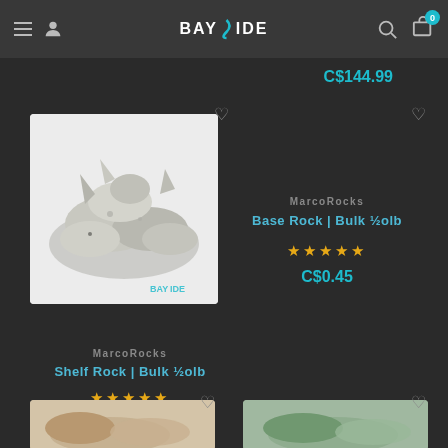Bayside — navigation header with menu, user, logo, search, cart (0)
C$144.99
[Figure (photo): MarcoRocks base rock product photo on white background with Bayside logo watermark]
MarcoRocks
Base Rock | Bulk ½olb
☆☆☆☆☆
C$0.45
MarcoRocks
Shelf Rock | Bulk ½olb
☆☆☆☆☆
C$0.99
[Figure (photo): Product photo partially visible at bottom left]
[Figure (photo): Product photo partially visible at bottom right]